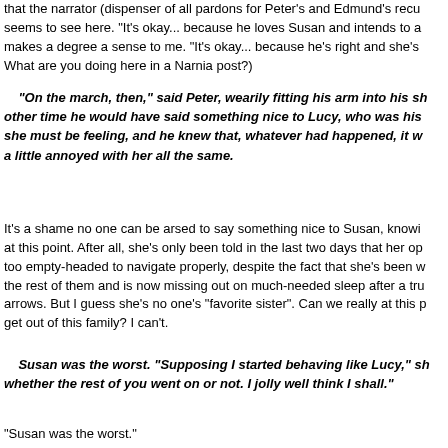that the narrator (dispenser of all pardons for Peter's and Edmund's recu seems to see here. "It's okay... because he loves Susan and intends to a makes a degree a sense to me. "It's okay... because he's right and she's What are you doing here in a Narnia post?)
"On the march, then," said Peter, wearily fitting his arm into his sh other time he would have said something nice to Lucy, who was his she must be feeling, and he knew that, whatever had happened, it w a little annoyed with her all the same.
It's a shame no one can be arsed to say something nice to Susan, knowi at this point. After all, she's only been told in the last two days that her op too empty-headed to navigate properly, despite the fact that she's been w the rest of them and is now missing out on much-needed sleep after a tru arrows. But I guess she's no one's "favorite sister". Can we really at this p get out of this family? I can't.
Susan was the worst. "Supposing I started behaving like Lucy," sh whether the rest of you went on or not. I jolly well think I shall."
"Susan was the worst."